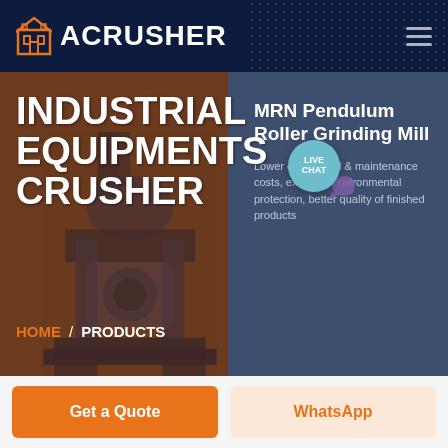ACRUSHER
INDUSTRIAL EQUIPMENTS CRUSHER
MRN Pendulum Roller Grinding Mill
Lower operational & maintenance costs, excellent environmental protection, better quality of finished products
HOME / PRODUCTS
LIVE CHAT
Get a Quote
WhatsApp